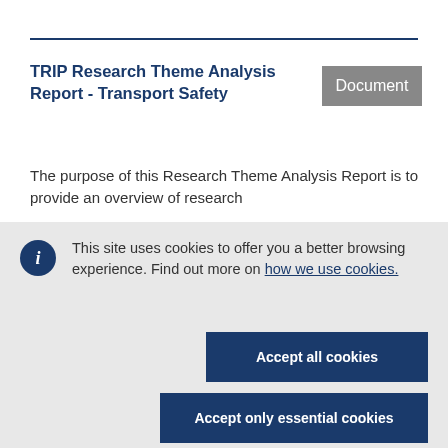TRIP Research Theme Analysis Report - Transport Safety
Document
The purpose of this Research Theme Analysis Report is to provide an overview of research
This site uses cookies to offer you a better browsing experience. Find out more on how we use cookies.
Accept all cookies
Accept only essential cookies